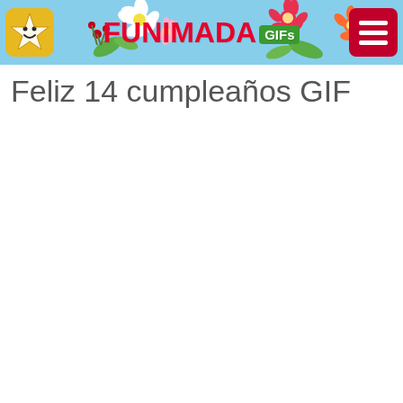FUNIMADA GIFs
Feliz 14 cumpleaños GIF